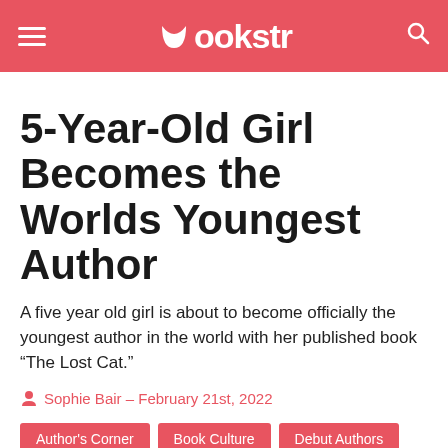Bookstr
5-Year-Old Girl Becomes the Worlds Youngest Author
A five year old girl is about to become officially the youngest author in the world with her published book “The Lost Cat.”
Sophie Bair – February 21st, 2022
Author's Corner
Book Culture
Debut Authors
Female Voices
Recommendations
Young Readers